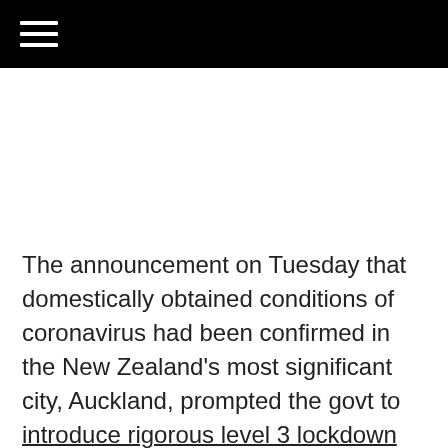☰
The announcement on Tuesday that domestically obtained conditions of coronavirus had been confirmed in the New Zealand's most significant city, Auckland, prompted the govt to introduce rigorous level 3 lockdown measures on August 12. This comes after all over 100 days without the need of community spread.